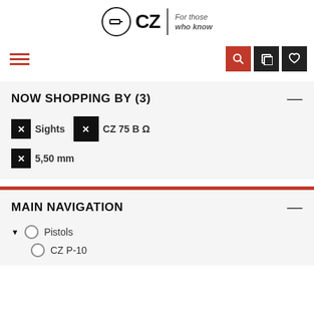[Figure (logo): CZ logo with circle icon, bold CZ text, vertical divider, and italic tagline 'For those who know']
NOW SHOPPING BY (3)
Sights
CZ 75 B Ω
5,50 mm
MAIN NAVIGATION
Pistols
CZ P-10